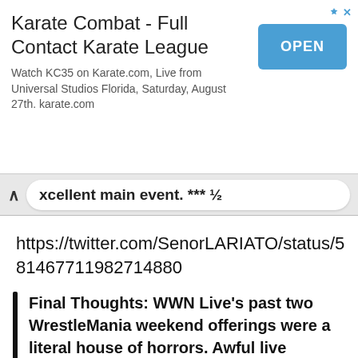[Figure (screenshot): Advertisement banner for Karate Combat Full Contact Karate League app with OPEN button]
kcellent main event. *** ½
https://twitter.com/SenorLARIATO/status/581467711982714880
Final Thoughts: WWN Live's past two WrestleMania weekend offerings were a literal house of horrors. Awful live streams and subpar shows soured quite a few fans on the brand. I am happy to report that the stream and show were of superior quality. As has become their calling card, WWNLive's EVOVLE 39 did not feature a lone stand out